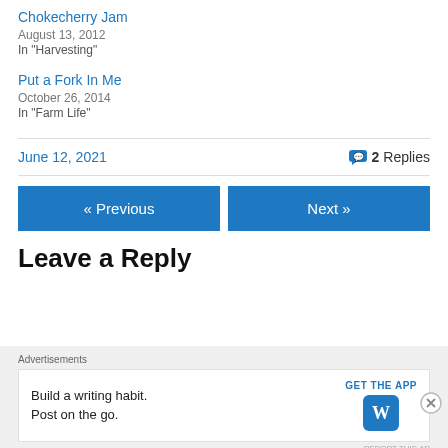Chokecherry Jam
August 13, 2012
In "Harvesting"
Put a Fork In Me
October 26, 2014
In "Farm Life"
June 12, 2021   2 Replies
« Previous   Next »
Leave a Reply
Advertisements
[Figure (other): WordPress app advertisement: 'Build a writing habit. Post on the go.' with GET THE APP button and WordPress logo]
REPORT THIS AD